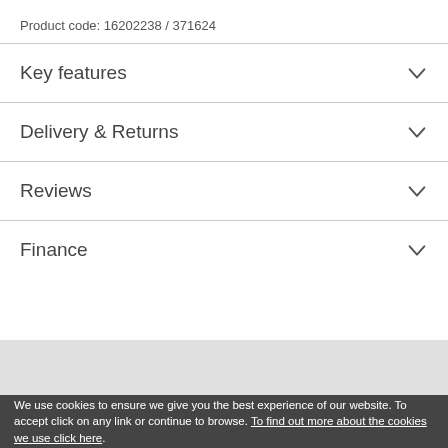Product code: 16202238 / 371624
Key features
Delivery & Returns
Reviews
Finance
We use cookies to ensure we give you the best experience of our website. To accept click on any link or continue to browse. To find out more about the cookies we use click here.